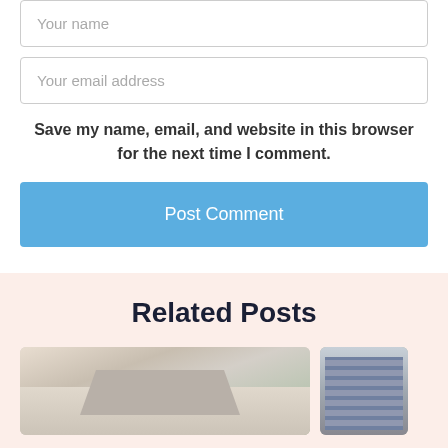Your name
Your email address
Save my name, email, and website in this browser for the next time I comment.
Post Comment
Related Posts
[Figure (photo): Photo of a modern house with palm tree, angled roofline visible against light sky]
[Figure (photo): Photo of a multi-story building with balconies and greenery]